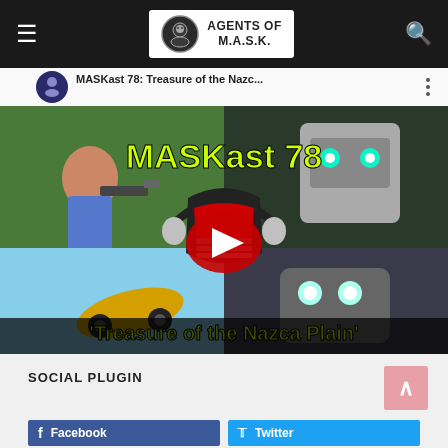Agents of M.A.S.K.
[Figure (screenshot): YouTube video thumbnail for MASKast 78: Treasure of the Nazca Plain. Shows animated characters with text 'MASKast 78' in yellow and 'Treasure of the Nazca Plain' at bottom. A red YouTube play button is centered. A podcast mask logo is in the center.]
SOCIAL PLUGIN
[Figure (other): Facebook social plugin button (blue)]
[Figure (other): Twitter social plugin button (light blue)]